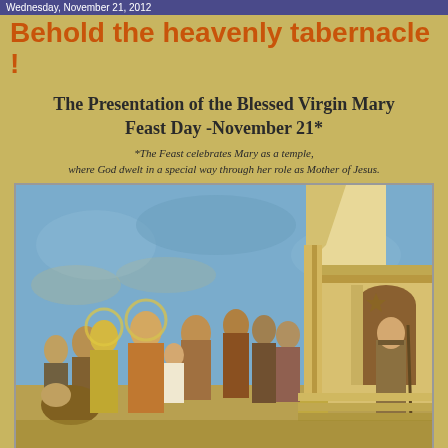Wednesday, November 21, 2012
Behold the heavenly tabernacle !
The Presentation of the Blessed Virgin Mary Feast Day -November 21*
*The Feast celebrates Mary as a temple,
where God dwelt in a special way through her role as Mother of Jesus.
[Figure (illustration): Medieval fresco painting (by Giotto) depicting the Presentation of the Virgin Mary at the Temple. On the left, figures including a haloed woman present a child to a priest on the temple steps. The background shows a blue sky with architectural elements of a temple building on the right.]